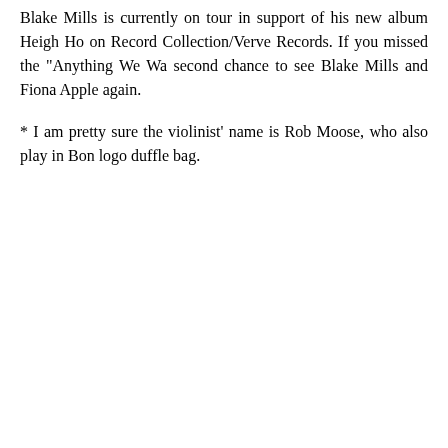Blake Mills is currently on tour in support of his new album Heigh Ho on Record Collection/Verve Records. If you missed the "Anything We Wa... second chance to see Blake Mills and Fiona Apple again.
* I am pretty sure the violinist' name is Rob Moose, who also play in Bon... logo duffle bag.